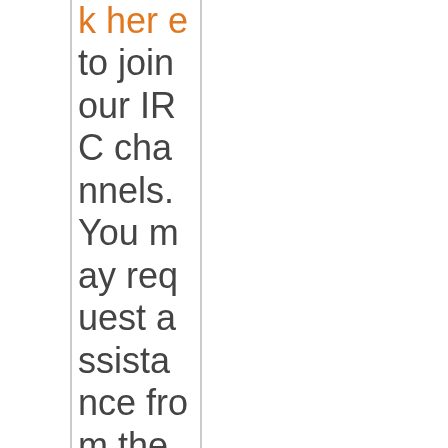k here to join our IRC channels. You may request assistance from the crew in #LVP or chat with